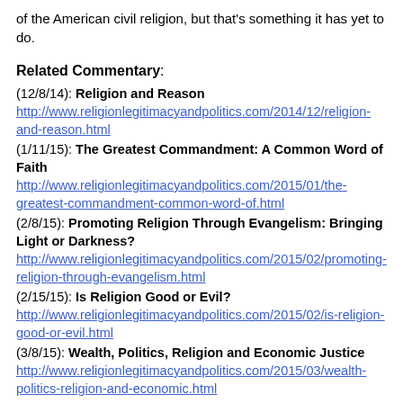of the American civil religion, but that's something it has yet to do.
Related Commentary:
(12/8/14): Religion and Reason http://www.religionlegitimacyandpolitics.com/2014/12/religion-and-reason.html
(1/11/15): The Greatest Commandment: A Common Word of Faith http://www.religionlegitimacyandpolitics.com/2015/01/the-greatest-commandment-common-word-of.html
(2/8/15): Promoting Religion Through Evangelism: Bringing Light or Darkness? http://www.religionlegitimacyandpolitics.com/2015/02/promoting-religion-through-evangelism.html
(2/15/15): Is Religion Good or Evil? http://www.religionlegitimacyandpolitics.com/2015/02/is-religion-good-or-evil.html
(3/8/15): Wealth, Politics, Religion and Economic Justice http://www.religionlegitimacyandpolitics.com/2015/03/wealth-politics-religion-and-economic.html
(3/15/15): The Kingdom of God, Politics and the Church http://www.religionlegitimacyandpolitics.com/2015/03/the-kingdom-of-god-politics-and-the-church.html